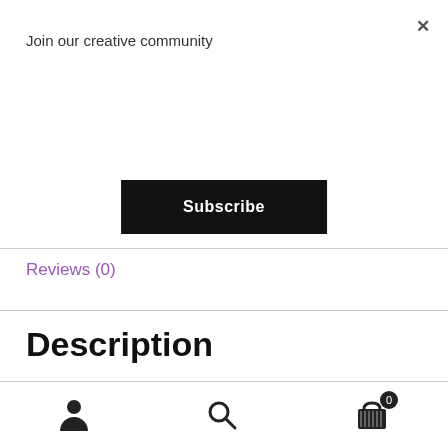Join our creative community
Subscribe
Reviews (0)
Description
Illustrator Thibaud Herem is nurturing a homegrown arboretum in his flat in Clapton. With over 30 species of tree ranging from oak to Japanese maple to giant redwood, this is a documentation of his obsession as
User icon | Search icon | Cart (0)